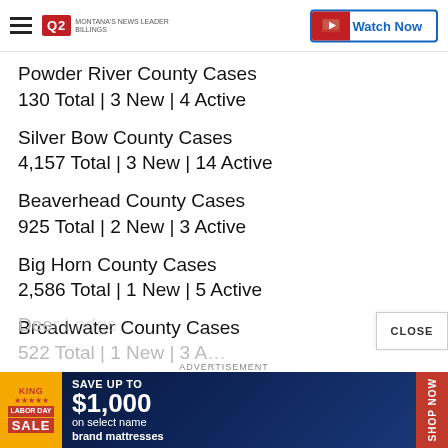Q2 Montana's News Leader | Watch Now
Powder River County Cases
130 Total | 3 New | 4 Active
Silver Bow County Cases
4,157 Total | 3 New | 14 Active
Beaverhead County Cases
925 Total | 2 New | 3 Active
Big Horn County Cases
2,586 Total | 1 New | 5 Active
Broadwater County Cases
522 Total | 1 New | 3 Active
[Figure (other): Labor Day Sale advertisement banner: Save up to $1,000 on select name brand mattresses]